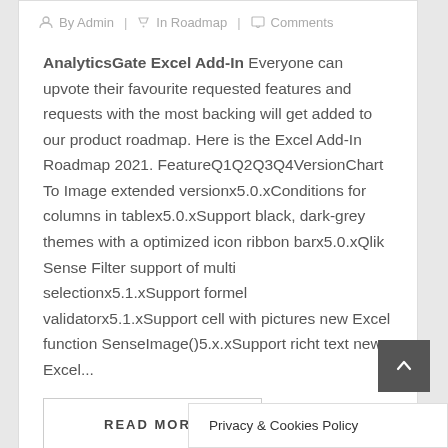By Admin | In Roadmap | Comments
AnalyticsGate Excel Add-In Everyone can upvote their favourite requested features and requests with the most backing will get added to our product roadmap. Here is the Excel Add-In Roadmap 2021. FeatureQ1Q2Q3Q4VersionChart To Image extended versionx5.0.xConditions for columns in tablex5.0.xSupport black, dark-grey themes with a optimized icon ribbon barx5.0.xQlik Sense Filter support of multi selectionx5.1.xSupport formel validatorx5.1.xSupport cell with pictures new Excel function SenseImage()5.x.xSupport richt text new Excel...
READ MORE
Privacy & Cookies Policy